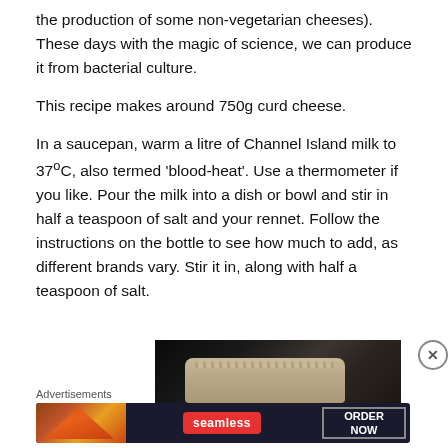the production of some non-vegetarian cheeses). These days with the magic of science, we can produce it from bacterial culture.
This recipe makes around 750g curd cheese.
In a saucepan, warm a litre of Channel Island milk to 37ºC, also termed ‘blood-heat’. Use a thermometer if you like. Pour the milk into a dish or bowl and stir in half a teaspoon of salt and your rennet. Follow the instructions on the bottle to see how much to add, as different brands vary. Stir it in, along with half a teaspoon of salt.
[Figure (photo): Dark photo showing a dish or bowl, likely used in cheese-making, against a dark background]
Advertisements
[Figure (other): Seamless food delivery advertisement banner with pizza image, Seamless logo, and ORDER NOW button]